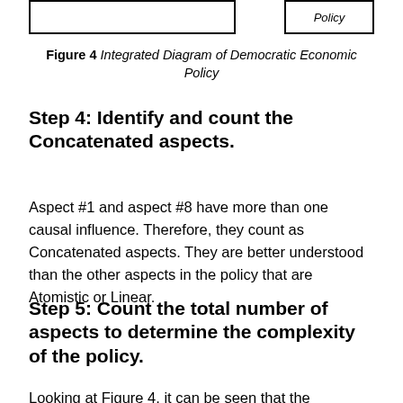[Figure (other): Top portion of a diagram showing two bordered boxes — one large blank box on the left and one smaller box on the right labeled 'Policy' — representing part of the Integrated Diagram of Democratic Economic Policy]
Figure 4 Integrated Diagram of Democratic Economic Policy
Step 4: Identify and count the Concatenated aspects.
Aspect #1 and aspect #8 have more than one causal influence. Therefore, they count as Concatenated aspects. They are better understood than the other aspects in the policy that are Atomistic or Linear.
Step 5: Count the total number of aspects to determine the complexity of the policy.
Looking at Figure 4, it can be seen that the